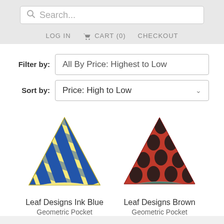Search... | LOG IN  CART (0)  CHECKOUT
Filter by: All By Price: Highest to Low
Sort by: Price: High to Low
[Figure (photo): Blue and yellow geometric pattern pocket square, folded into a triangular shape]
Leaf Designs Ink Blue
Geometric Pocket
[Figure (photo): Brown and black polka dot / honeycomb pattern pocket square, folded into a triangular shape]
Leaf Designs Brown
Geometric Pocket